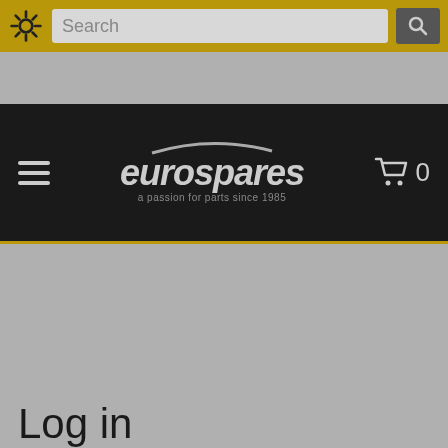[Figure (screenshot): Top navigation bar with gear/settings icon, search input field, and search button on a gold/yellow background]
[Figure (screenshot): Dark navigation bar with hamburger menu icon, Eurospares logo (a passion for parts since 1985), and shopping cart icon with 0 items]
[Figure (screenshot): Four dropdown select fields labeled 'Select' on a dark background for model selection]
Hide model select
Log in
Please log in.